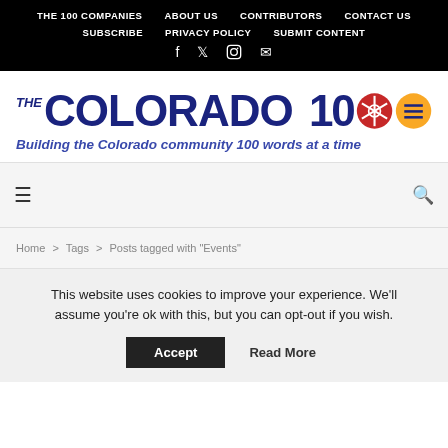THE 100 COMPANIES  ABOUT US  CONTRIBUTORS  CONTACT US  SUBSCRIBE  PRIVACY POLICY  SUBMIT CONTENT
[Figure (logo): The Colorado 100 logo with dark blue bold text, a red camera aperture icon, and a yellow circle with menu lines icon. Tagline: Building the Colorado community 100 words at a time.]
Home > Tags > Posts tagged with "Events"
This website uses cookies to improve your experience. We'll assume you're ok with this, but you can opt-out if you wish.